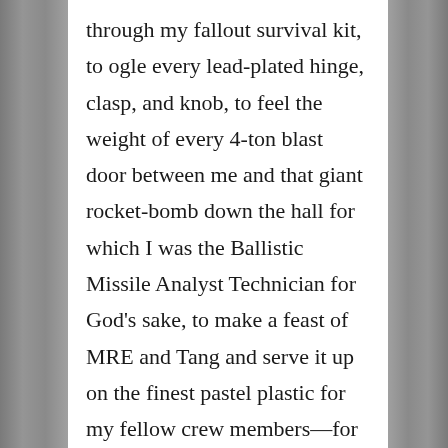through my fallout survival kit, to ogle every lead-plated hinge, clasp, and knob, to feel the weight of every 4-ton blast door between me and that giant rocket-bomb down the hall for which I was the Ballistic Missile Analyst Technician for God's sake, to make a feast of MRE and Tang and serve it up on the finest pastel plastic for my fellow crew members—for that Missile Facilities Technician—to impress her with my domestic charms even while charged with analyzing the missile that could end us all, to prove that even